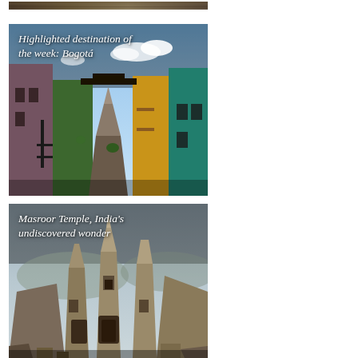[Figure (photo): Partial view of a travel destination image at top of page, cropped]
[Figure (photo): Colorful colonial street in Bogotá, Colombia with bright painted buildings and sky. Overlaid italic text: 'Highlighted destination of the week: Bogotá']
[Figure (photo): Ancient carved stone temple ruins at Masroor Temple, India. Overlaid italic text: 'Masroor Temple, India's undiscovered wonder']